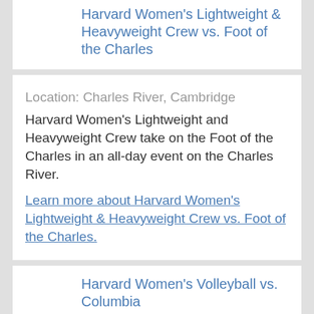Harvard Women's Lightweight & Heavyweight Crew vs. Foot of the Charles
Location: Charles River, Cambridge
Harvard Women's Lightweight and Heavyweight Crew take on the Foot of the Charles in an all-day event on the Charles River.
Learn more about Harvard Women's Lightweight & Heavyweight Crew vs. Foot of the Charles.
Harvard Women's Volleyball vs. Columbia
Location: Malkin Athletic Center, 39